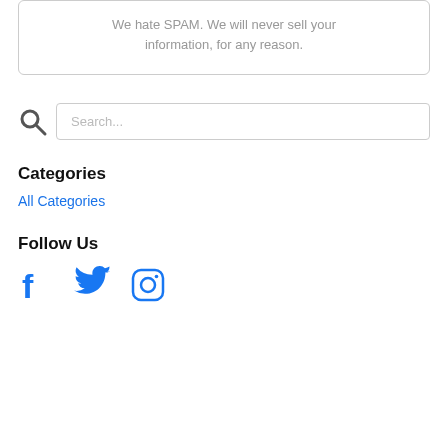We hate SPAM. We will never sell your information, for any reason.
[Figure (screenshot): Search bar with magnifying glass icon and placeholder text 'Search...']
Categories
All Categories
Follow Us
[Figure (illustration): Social media icons: Facebook (f), Twitter (bird), Instagram (camera)]